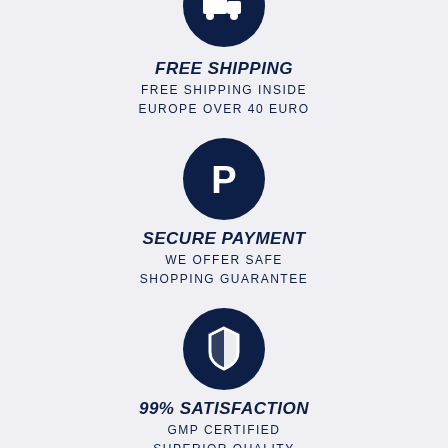[Figure (illustration): Dark navy circle icon with white delivery truck / box on wheels symbol, partially cropped at top]
FREE SHIPPING
FREE SHIPPING INSIDE EUROPE OVER 40 EURO
[Figure (illustration): Dark navy circle icon with white PayPal 'P' logo symbol]
SECURE PAYMENT
WE OFFER SAFE SHOPPING GUARANTEE
[Figure (illustration): Dark navy circle icon with white shield/security symbol]
99% SATISFACTION
GMP CERTIFIED SUPERIOR QUALITY
[Figure (illustration): Dark navy circle icon, partially cropped at bottom]